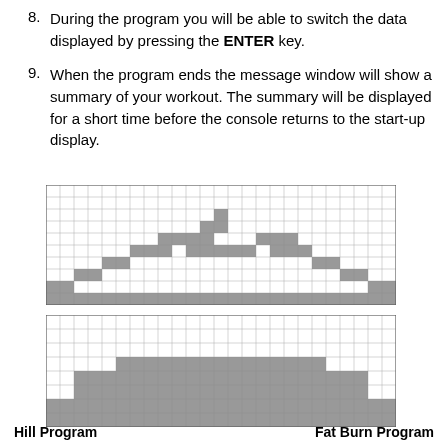8. During the program you will be able to switch the data displayed by pressing the ENTER key.
9. When the program ends the message window will show a summary of your workout. The summary will be displayed for a short time before the console returns to the start-up display.
[Figure (other): Hill Program chart: a grid with gray filled cells forming a hill/mountain profile shape, peaking in the center top.]
[Figure (other): Fat Burn Program chart: a grid with gray filled cells forming a wide plateau/dome shape.]
Hill Program
Fat Burn Program